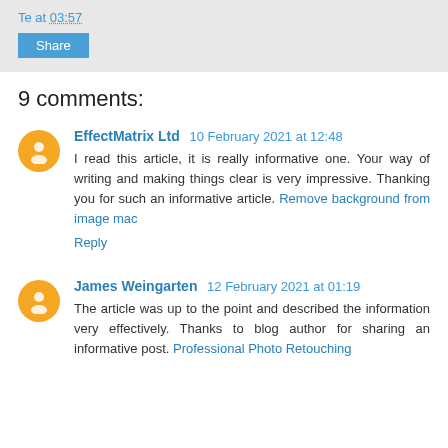Te at 03:57
Share
9 comments:
EffectMatrix Ltd 10 February 2021 at 12:48
I read this article, it is really informative one. Your way of writing and making things clear is very impressive. Thanking you for such an informative article. Remove background from image mac
Reply
James Weingarten 12 February 2021 at 01:19
The article was up to the point and described the information very effectively. Thanks to blog author for sharing an informative post. Professional Photo Retouching